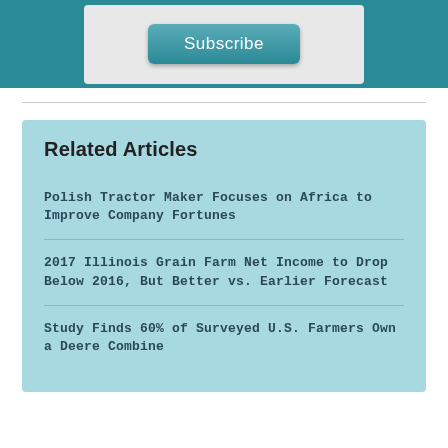[Figure (screenshot): Teal banner background with a light gray subscribe box containing a teal Subscribe button]
Related Articles
Polish Tractor Maker Focuses on Africa to Improve Company Fortunes
2017 Illinois Grain Farm Net Income to Drop Below 2016, But Better vs. Earlier Forecast
Study Finds 60% of Surveyed U.S. Farmers Own a Deere Combine